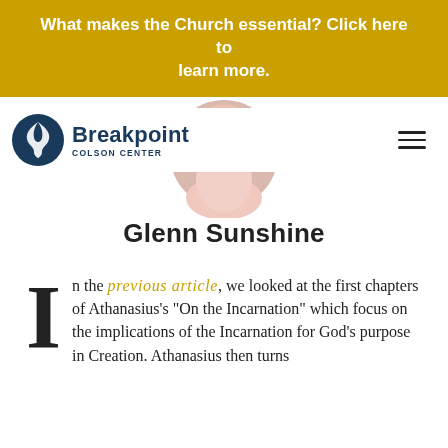What makes the Church essential? Click here to learn more.
[Figure (logo): Breakpoint Colson Center logo with circular icon and text]
[Figure (photo): Circular portrait photo of Glenn Sunshine]
Glenn Sunshine
In the previous article, we looked at the first chapters of Athanasius's "On the Incarnation" which focus on the implications of the Incarnation for God's purpose in Creation. Athanasius then turns